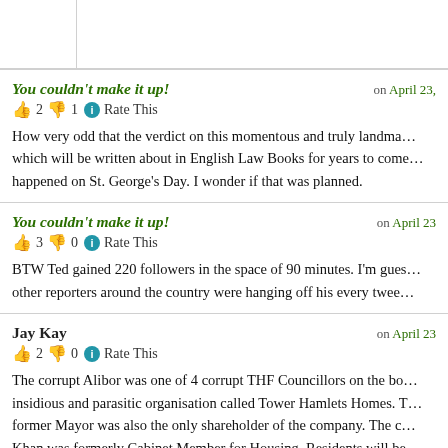You couldn't make it up! on April 23, — 👍 2 👎 1 ℹ Rate This — How very odd that the verdict on this momentous and truly landmark case, which will be written about in English Law Books for years to come, happened on St. George's Day. I wonder if that was planned.
You couldn't make it up! on April 23 — 👍 3 👎 0 ℹ Rate This — BTW Ted gained 220 followers in the space of 90 minutes. I'm guessing other reporters around the country were hanging off his every twee…
Jay Kay on April 23 — 👍 2 👎 0 ℹ Rate This — The corrupt Alibor was one of 4 corrupt THF Councillors on the board of an insidious and parasitic organisation called Tower Hamlets Homes. The former Mayor was also the only shareholder of the company. The corrupt Khan was formerly Cabinet Member for Housing. Residents will be…